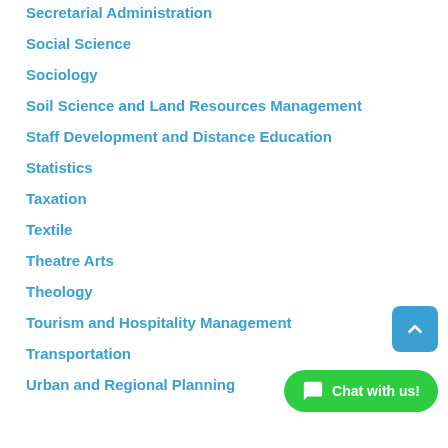Secretarial Administration
Social Science
Sociology
Soil Science and Land Resources Management
Staff Development and Distance Education
Statistics
Taxation
Textile
Theatre Arts
Theology
Tourism and Hospitality Management
Transportation
Urban and Regional Planning